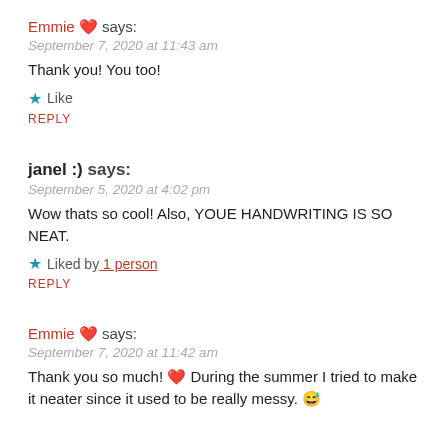Emmie ❤️ says:
September 7, 2020 at 11:43 am
Thank you! You too!
★ Like
REPLY
janel :) says:
September 5, 2020 at 4:02 pm
Wow thats so cool! Also, YOUE HANDWRITING IS SO NEAT.
★ Liked by 1 person
REPLY
Emmie ❤️ says:
September 7, 2020 at 11:42 am
Thank you so much! ❤️ During the summer I tried to make it neater since it used to be really messy. 😅